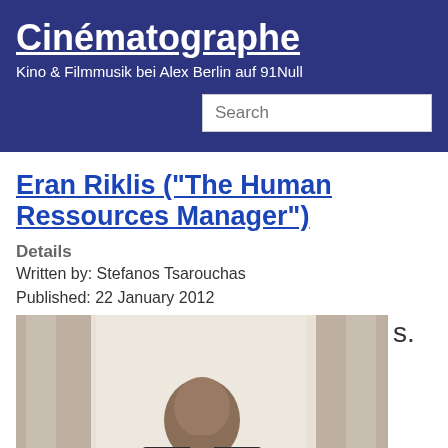Cinématographe
Kino & Filmmusik bei Alex Berlin auf 91Null
Eran Riklis ("The Human Ressources Manager")
Details
Written by: Stefanos Tsarouchas
Published: 22 January 2012
[Figure (photo): A bald man photographed near a window with curtains in the background, partially visible at the bottom of the page]